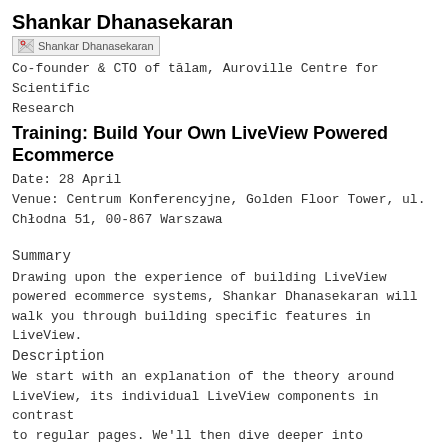Shankar Dhanasekaran
[Figure (photo): Profile photo placeholder for Shankar Dhanasekaran]
Co-founder & CTO of tālam, Auroville Centre for Scientific Research
Training: Build Your Own LiveView Powered Ecommerce
Date: 28 April
Venue: Centrum Konferencyjne, Golden Floor Tower, ul. Chłodna 51, 00-867 Warszawa
Summary
Drawing upon the experience of building LiveView powered ecommerce systems, Shankar Dhanasekaran will walk you through building specific features in LiveView.
Description
We start with an explanation of the theory around LiveView, its individual LiveView components in contrast to regular pages. We'll then dive deeper into modifying a simple ecommerce system, built using Phoenix, into one